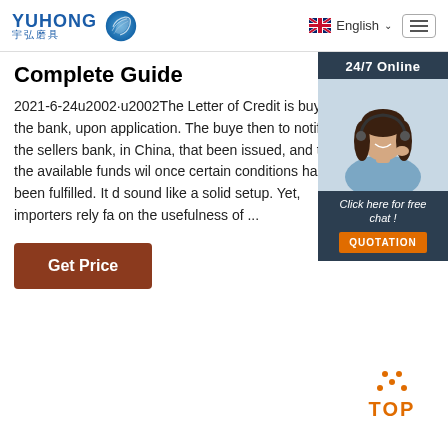[Figure (logo): YUHONG 宇弘磨具 logo with blue wave/shield icon]
[Figure (screenshot): Language selector showing UK flag and 'English' with dropdown arrow, and hamburger menu button]
Complete Guide
2021-6-24u2002·u2002The Letter of Credit is buyers the bank, upon application. The buye then to notify the sellers bank, in China, that been issued, and that the available funds wil once certain conditions has been fulfilled. It d sound like a solid setup. Yet, importers rely fa on the usefulness of ...
[Figure (screenshot): 24/7 Online chat widget showing a woman with headset, 'Click here for free chat!' text and orange QUOTATION button]
[Figure (other): Orange TOP button with dotted arc above the TOP text]